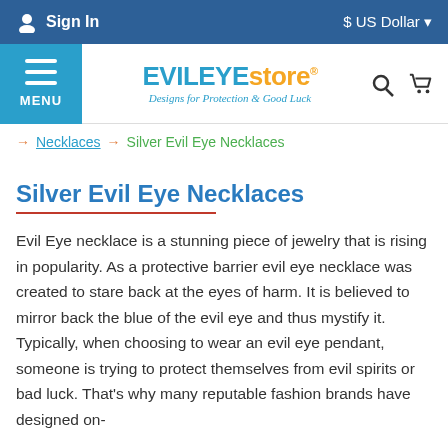Sign In  $ US Dollar
[Figure (logo): EvilEye Store logo with tagline 'Designs for Protection & Good Luck']
→ Necklaces → Silver Evil Eye Necklaces
Silver Evil Eye Necklaces
Evil Eye necklace is a stunning piece of jewelry that is rising in popularity. As a protective barrier evil eye necklace was created to stare back at the eyes of harm. It is believed to mirror back the blue of the evil eye and thus mystify it. Typically, when choosing to wear an evil eye pendant, someone is trying to protect themselves from evil spirits or bad luck. That's why many reputable fashion brands have designed on-